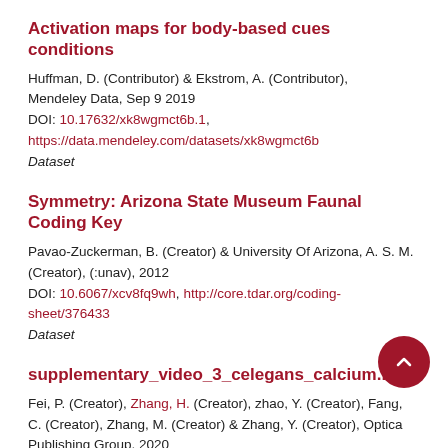Activation maps for body-based cues conditions
Huffman, D. (Contributor) & Ekstrom, A. (Contributor), Mendeley Data, Sep 9 2019
DOI: 10.17632/xk8wgmct6b.1,
https://data.mendeley.com/datasets/xk8wgmct6b
Dataset
Symmetry: Arizona State Museum Faunal Coding Key
Pavao-Zuckerman, B. (Creator) & University Of Arizona, A. S. M. (Creator), (:unav), 2012
DOI: 10.6067/xcv8fq9wh, http://core.tdar.org/coding-sheet/376433
Dataset
supplementary_video_3_celegans_calcium.mp4
Fei, P. (Creator), Zhang, H. (Creator), zhao, Y. (Creator), Fang, C. (Creator), Zhang, M. (Creator) & Zhang, Y. (Creator), Optica Publishing Group, 2020